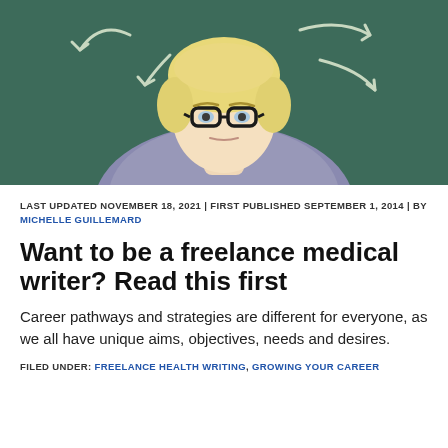[Figure (photo): Woman with short blonde hair and black glasses, leaning forward in front of a green chalkboard with chalk arrows drawn on it, appearing contemplative or confused.]
LAST UPDATED NOVEMBER 18, 2021 | FIRST PUBLISHED SEPTEMBER 1, 2014 | BY MICHELLE GUILLEMARD
Want to be a freelance medical writer? Read this first
Career pathways and strategies are different for everyone, as we all have unique aims, objectives, needs and desires.
FILED UNDER: FREELANCE HEALTH WRITING, GROWING YOUR CAREER